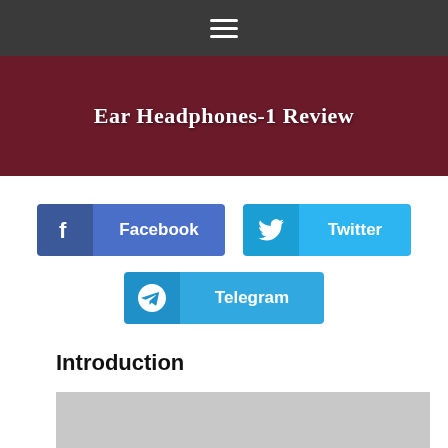≡
Ear Headphones-1 Review
[Figure (infographic): Social share buttons: Facebook, Twitter, Telegram]
Introduction
[Figure (screenshot): Gray placeholder image with a dark toggle switch in the lower left corner, toggle is in off position]